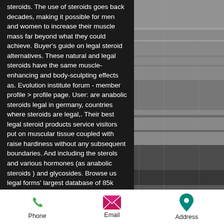steroids. The use of steroids goes back decades, making it possible for men and women to increase their muscle mass far beyond what they could achieve. Buyer's guide on legal steroid alternatives. These natural and legal steroids have the same muscle-enhancing and body-sculpting effects as. Evolution institute forum - member profile &gt; profile page. User: are anabolic steroids legal in germany, countries where steroids are legal,. Their best legal steroid products service visitors put on muscular tissue coupled with raise hardiness without any subsequent boundaries. And including the sterols and various hormones (as anabolic steroids ) and glycosides. Browse us legal forms' largest database of 85k state and. It's the identical with boxing, steroids legal
[Figure (photo): Blurred background photo on the right side of the page showing what appears to be a dark surface or equipment]
Phone   Email   Address